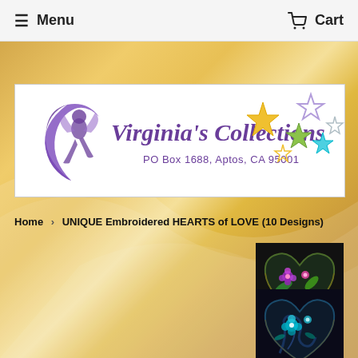Menu   Cart
[Figure (logo): Virginia's Collections logo banner with fairy/woman on crescent moon in purple, cursive script 'Virginia's Collections' in purple, colorful stars (gold, green, blue, purple, lavender), and address 'PO Box 1688, Aptos, CA 95001' on white background]
Home › UNIQUE Embroidered HEARTS of LOVE (10 Designs)
[Figure (photo): Dark heart-shaped embroidery design with purple and pink flowers and green leaves on black background]
[Figure (photo): Dark heart-shaped embroidery design with cyan/teal flowers and blue/green swirling elements on dark background]